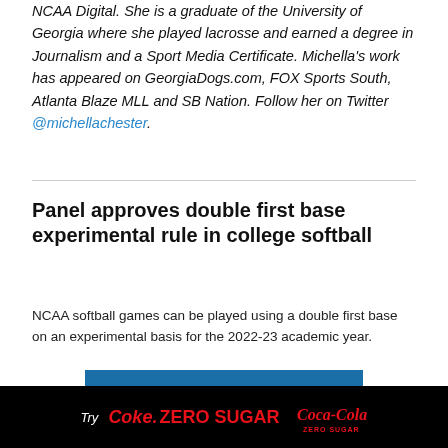NCAA Digital. She is a graduate of the University of Georgia where she played lacrosse and earned a degree in Journalism and a Sport Media Certificate. Michella's work has appeared on GeorgiaDogs.com, FOX Sports South, Atlanta Blaze MLL and SB Nation. Follow her on Twitter @michellachester.
Panel approves double first base experimental rule in college softball
NCAA softball games can be played using a double first base on an experimental basis for the 2022-23 academic year.
READ MORE
[Figure (other): Coca-Cola Zero Sugar advertisement banner with black background, red Coke Zero Sugar text and Coca-Cola logo]